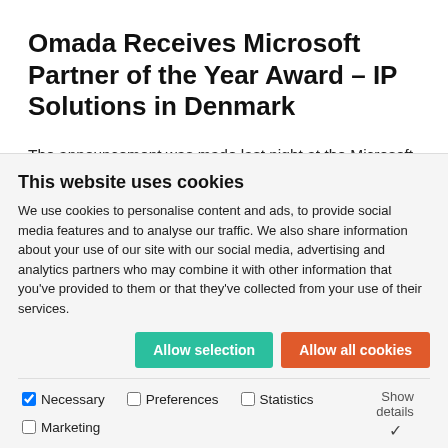Omada Receives Microsoft Partner of the Year Award – IP Solutions in Denmark
The announcement was made last night at the Microsoft Partner Awards ceremony, which took place in Microsoft HQ in Denmark.
Omada was chosen from a large field of entrants for demonstrating excellence in innovation and in the
This website uses cookies
We use cookies to personalise content and ads, to provide social media features and to analyse our traffic. We also share information about your use of our site with our social media, advertising and analytics partners who may combine it with other information that you've provided to them or that they've collected from your use of their services.
Allow selection
Allow all cookies
Necessary  Preferences  Statistics  Marketing  Show details